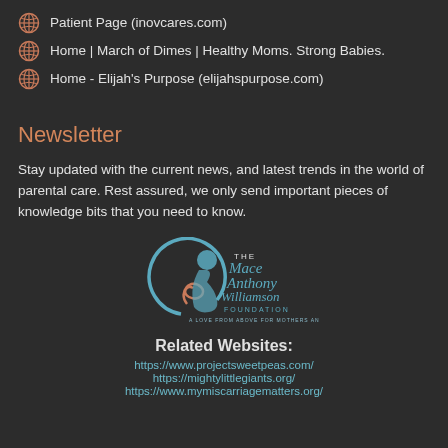Patient Page (inovcares.com)
Home | March of Dimes | Healthy Moms. Strong Babies.
Home - Elijah's Purpose (elijahspurpose.com)
Newsletter
Stay updated with the current news, and latest trends in the world of parental care. Rest assured, we only send important pieces of knowledge bits that you need to know.
[Figure (logo): The Mace Anthony Williamson Foundation logo with tagline]
Related Websites:
https://www.projectsweetpeas.com/
https://mightylittlegiants.org/
https://www.mymiscarriagematters.org/